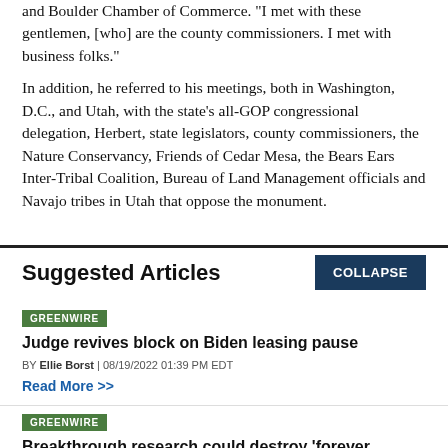and Boulder Chamber of Commerce. "I met with these gentlemen, [who] are the county commissioners. I met with business folks."

In addition, he referred to his meetings, both in Washington, D.C., and Utah, with the state's all-GOP congressional delegation, Herbert, state legislators, county commissioners, the Nature Conservancy, Friends of Cedar Mesa, the Bears Ears Inter-Tribal Coalition, Bureau of Land Management officials and Navajo tribes in Utah that oppose the monument.
Suggested Articles
COLLAPSE
GREENWIRE
Judge revives block on Biden leasing pause
BY Ellie Borst | 08/19/2022 01:39 PM EDT
Read More >>
GREENWIRE
Breakthrough research could destroy 'forever chemicals'